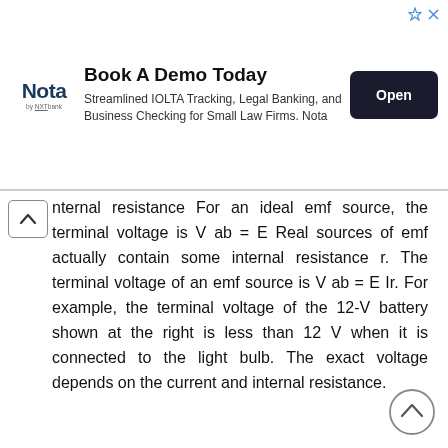[Figure (other): Advertisement banner for Nota by NXT Bank: 'Book A Demo Today' — Streamlined IOLTA Tracking, Legal Banking, and Business Checking for Small Law Firms. Nota. Open button.]
nternal resistance For an ideal emf source, the terminal voltage is V ab = E Real sources of emf actually contain some internal resistance r. The terminal voltage of an emf source is V ab = E Ir. For example, the terminal voltage of the 12-V battery shown at the right is less than 12 V when it is connected to the light bulb. The exact voltage depends on the current and internal resistance.